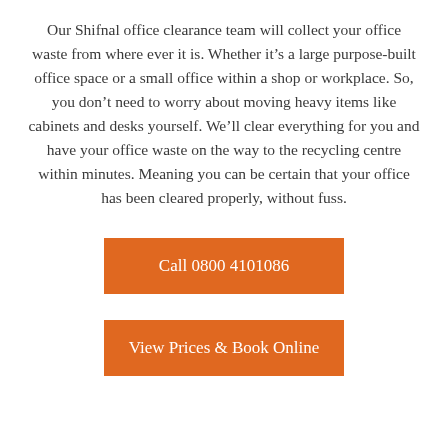Our Shifnal office clearance team will collect your office waste from where ever it is. Whether it's a large purpose-built office space or a small office within a shop or workplace. So, you don't need to worry about moving heavy items like cabinets and desks yourself. We'll clear everything for you and have your office waste on the way to the recycling centre within minutes. Meaning you can be certain that your office has been cleared properly, without fuss.
Call 0800 4101086
View Prices & Book Online